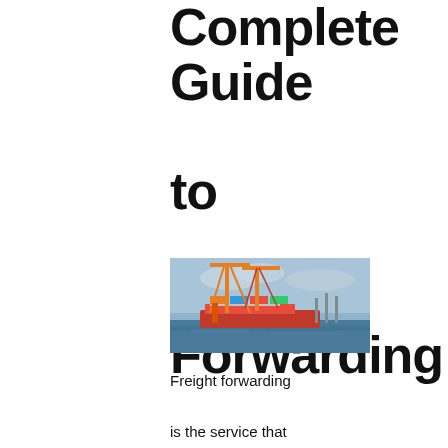Complete Guide to Freight Forwarding
[Figure (photo): Container ship at port with large cranes and blue sky]
Freight forwarding is the service that